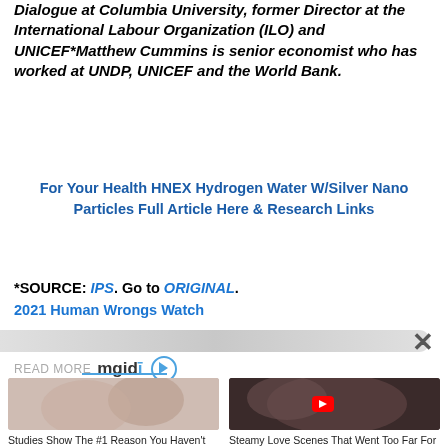Dialogue at Columbia University, former Director at the International Labour Organization (ILO) and UNICEF*Matthew Cummins is senior economist who has worked at UNDP, UNICEF and the World Bank.
For Your Health HNEX Hydrogen Water W/Silver Nano Particles Full Article Here & Research Links
*SOURCE: IPS. Go to ORIGINAL.
2021 Human Wrongs Watch
[Figure (screenshot): READ MORE mgid logo with two thumbnail article cards: 'Studies Show The #1 Reason You Haven't Found Your Soulmate Yet' and 'Steamy Love Scenes That Went Too Far For Audiences']